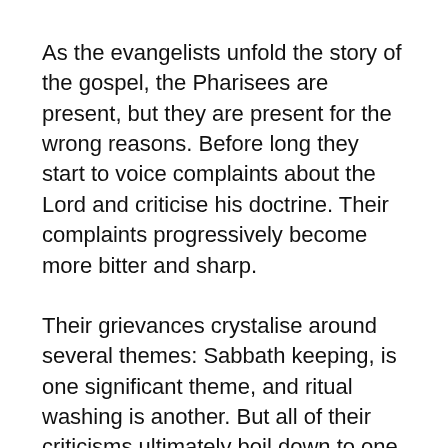As the evangelists unfold the story of the gospel, the Pharisees are present, but they are present for the wrong reasons. Before long they start to voice complaints about the Lord and criticise his doctrine. Their complaints progressively become more bitter and sharp.
Their grievances crystalise around several themes: Sabbath keeping, is one significant theme, and ritual washing is another. But all of their criticisms ultimately boil down to one underlying root objection, namely that Jesus refuses to follow their traditions.
For a sect that gets so much attention in the